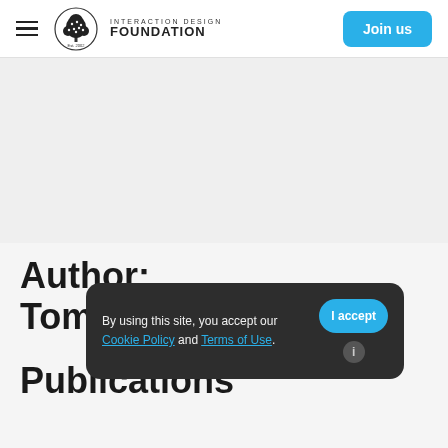Interaction Design Foundation — Join us
Author: Tom
By using this site, you accept our Cookie Policy and Terms of Use.
Publications